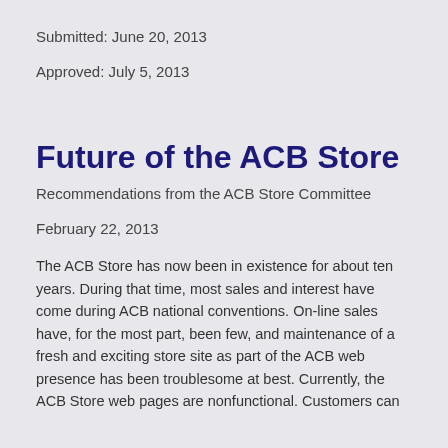Submitted:  June 20, 2013
Approved:  July 5, 2013
Future of the ACB Store
Recommendations from the ACB Store Committee
February 22, 2013
The ACB Store has now been in existence for about ten years.  During that time, most sales and interest have come during ACB national conventions.  On-line sales have, for the most part, been few, and maintenance of a fresh and exciting store site as part of the ACB web presence has been troublesome at best.  Currently, the ACB Store web pages are nonfunctional.  Customers can